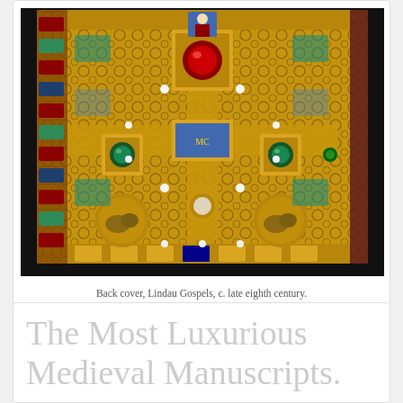[Figure (photo): Back cover of the Lindau Gospels, showing an ornate jeweled and gilded book cover with intricate metalwork, enamel work, and gemstones in a cross pattern, c. late eighth century.]
Back cover, Lindau Gospels, c. late eighth century.
Image via Atlas Obscura
The Most Luxurious Medieval Manuscripts.